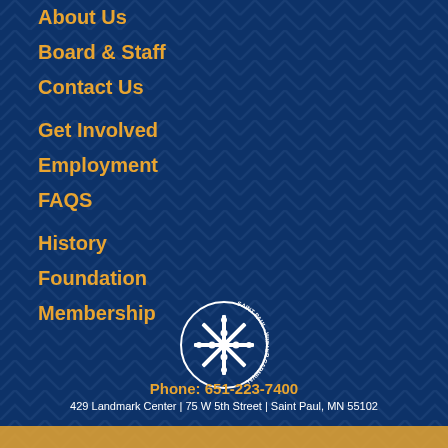About Us
Board & Staff
Contact Us
Get Involved
Employment
FAQS
History
Foundation
Membership
[Figure (logo): Saint Paul Winter Carnival circular logo with snowflake and figures in white]
Phone: 651-223-7400
429 Landmark Center | 75 W 5th Street | Saint Paul, MN 55102